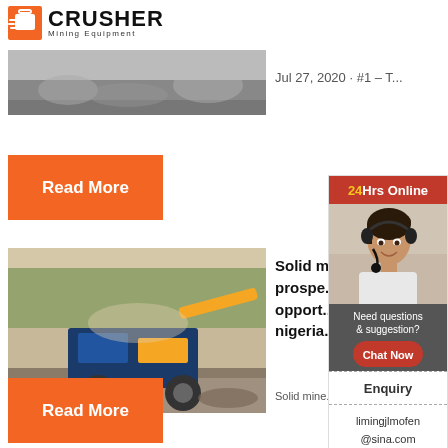[Figure (logo): Crusher Mining Equipment logo with red shopping bag icon and bold black CRUSHER text with Mining Equipment subtitle]
[Figure (photo): Top article photo - quarry/mining site with rock and machinery, partially cropped]
Jul 27, 2020 · #1 – T...
[Figure (other): Orange Read More button]
[Figure (photo): Second article photo - blue mobile crushing machine processing gravel on a road]
Solid m... prospe... opport... nigeria...
Solid mine...
[Figure (other): Orange Read More button]
[Figure (infographic): 24Hrs Online sidebar with woman wearing headset, Need questions & suggestion text, Chat Now button, Enquiry link, and limingjlmofen@sina.com email]